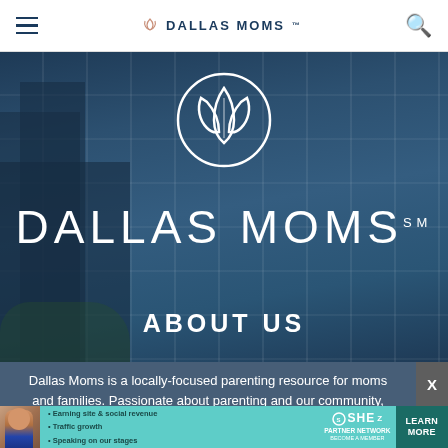DALLAS MOMS™
[Figure (logo): Dallas Moms logo — white tulip/flower outline in a circle, with DALLAS MOMS text below in large white letters on a city skyline background]
ABOUT US
Dallas Moms is a locally-focused parenting resource for moms and families. Passionate about parenting and our community, Dallas Moms strives to connect area moms to relevant
[Figure (infographic): SHE Partner Network advertisement banner with woman photo, bullet points: Earning site & social revenue, Traffic growth, Speaking on our stages, SHE Partner Network become a member logo, and LEARN MORE button]